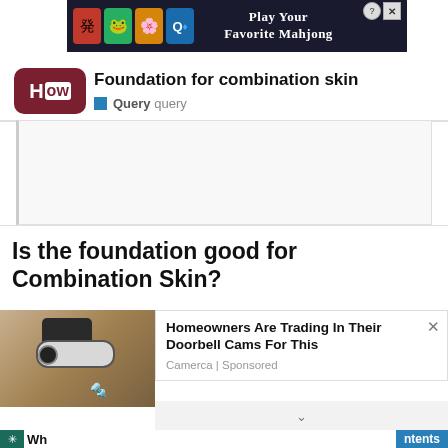[Figure (screenshot): Mahjong game advertisement banner with tiles and 'Play Your Favorite Mahjong' text]
[Figure (logo): HowStuffWorks 'How' logo in dark red rounded rectangle]
Foundation for combination skin
Query  query
Is the foundation good for Combination Skin?
[Figure (photo): Security camera mounted on wall]
Homeowners Are Trading In Their Doorbell Cams For This
Camerca | Sponsored
Wh
ntents